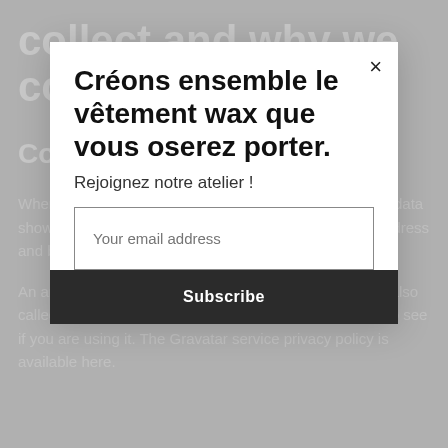collect and why we collect it
Comments
When visitors leave comments on the site we collect the data shown in the comments form, and also the visitor's IP address and browser user agent string to help spam detection.
An anonymized string created from your email address (also called a hash) may be provided to the Gravatar service to see if you are using it. The Gravatar service privacy policy is available here.
Créons ensemble le vêtement wax que vous oserez porter.
Rejoignez notre atelier !
Your email address
Subscribe